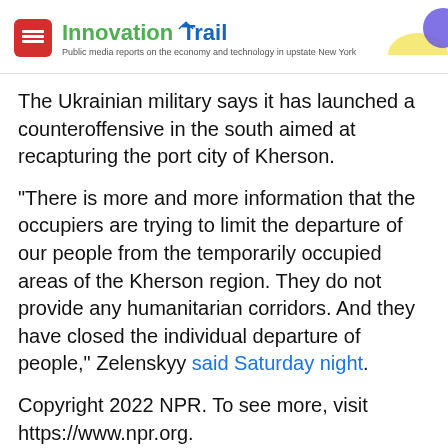Innovation Trail — Public media reports on the economy and technology in upstate New York
The Ukrainian military says it has launched a counteroffensive in the south aimed at recapturing the port city of Kherson.
"There is more and more information that the occupiers are trying to limit the departure of our people from the temporarily occupied areas of the Kherson region. They do not provide any humanitarian corridors. And they have closed the individual departure of people," Zelenskyy said Saturday night.
Copyright 2022 NPR. To see more, visit https://www.npr.org.